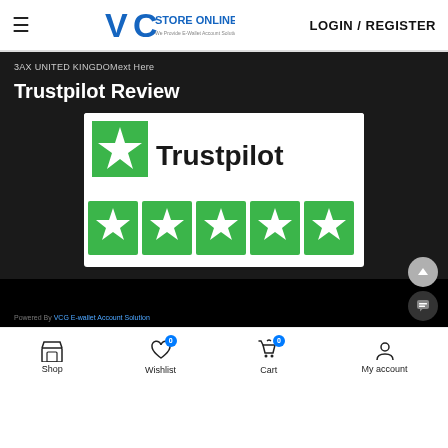VC Store Online | LOGIN / REGISTER
3AX UNITED KINGDOMext Here
Trustpilot Review
[Figure (logo): Trustpilot logo with green star and the word Trustpilot, followed by five green star rating boxes]
Powered By VCG E-wallet Account Solution
Shop | Wishlist 0 | Cart 0 | My account